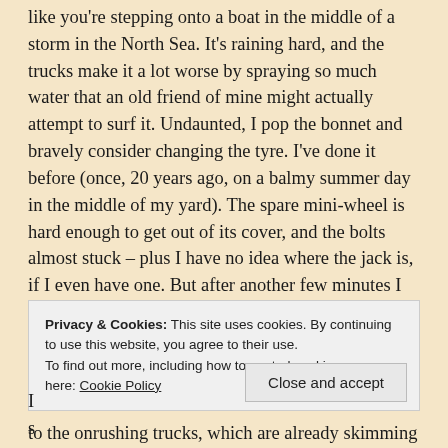like you're stepping onto a boat in the middle of a storm in the North Sea. It's raining hard, and the trucks make it a lot worse by spraying so much water that an old friend of mine might actually attempt to surf it. Undaunted, I pop the bonnet and bravely consider changing the tyre. I've done it before (once, 20 years ago, on a balmy summer day in the middle of my yard). The spare mini-wheel is hard enough to get out of its cover, and the bolts almost stuck – plus I have no idea where the jack is, if I even have one. But after another few minutes I locate it, and manage to pull it out. Then I go to see where I can stick it – and realise the entire right side of my car is sinking in mud.
Privacy & Cookies: This site uses cookies. By continuing to use this website, you agree to their use.
To find out more, including how to control cookies, see here: Cookie Policy
to the onrushing trucks, which are already skimming too near for